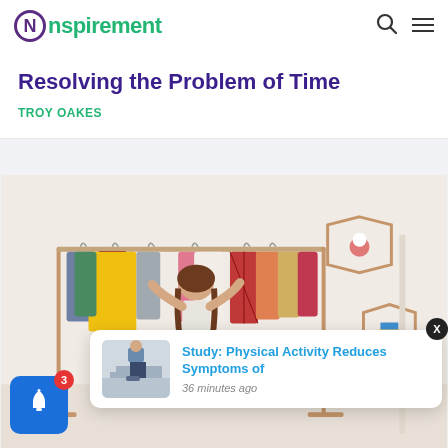Nspirement
Resolving the Problem of Time
TROY OAKES
[Figure (photo): A young girl with long hair standing in front of a clothing rack with colourful clothes hanging on it. Two hexagonal wooden wall shelves with toys are visible in the background.]
Study: Physical Activity Reduces Symptoms of
36 minutes ago